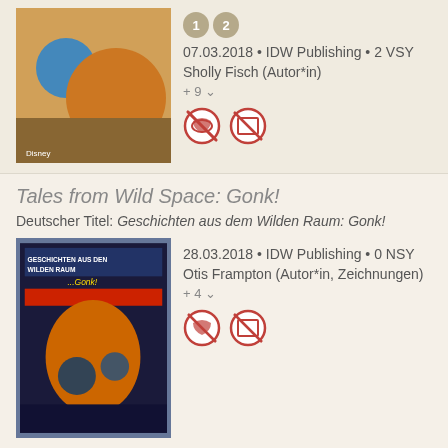[Figure (photo): Book cover image (comic art) for first entry]
07.03.2018 • IDW Publishing • 2 VSY
Sholly Fisch (Autor*in)
+ 9
[Figure (illustration): Two circular icons with red borders and crossed lines]
Tales from Wild Space: Gonk!
Deutscher Titel: Geschichten aus dem Wilden Raum: Gonk!
[Figure (photo): Book cover for Geschichten aus dem Wilden Raum: Gonk!]
28.03.2018 • IDW Publishing • 0 NSY
Otis Frampton (Autor*in, Zeichnungen)
+ 4
[Figure (illustration): Two circular icons with red borders and crossed lines]
Star Wars Adventures: The Lost Eggs of Livorno
Deutscher Titel: Star Wars Abenteuer: Die verschollenen Eier von Livorno
[Figure (photo): Book cover image at bottom of page]